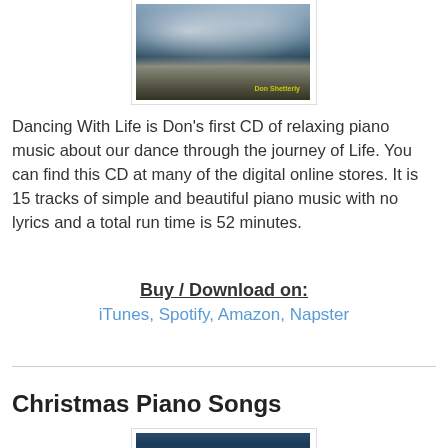[Figure (photo): Album cover image for 'Dancing With Life' by Don Shetterly, showing clouds over water/landscape with yellow artist name text]
Dancing With Life is Don's first CD of relaxing piano music about our dance through the journey of Life. You can find this CD at many of the digital online stores. It is 15 tracks of simple and beautiful piano music with no lyrics and a total run time is 52 minutes.
Buy / Download on:
iTunes, Spotify, Amazon, Napster
Christmas Piano Songs
[Figure (photo): Album cover image partially visible at bottom of page]